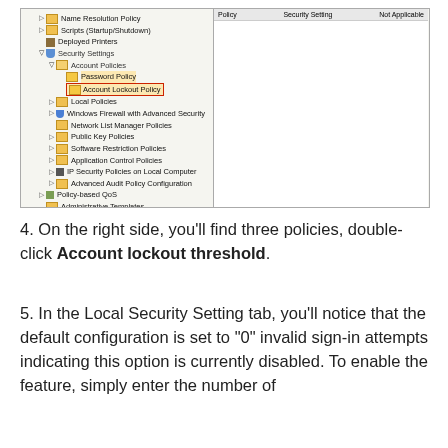[Figure (screenshot): Windows Group Policy Management Editor showing navigation tree with Account Lockout Policy highlighted in red border under Security Settings > Account Policies]
4. On the right side, you'll find three policies, double-click Account lockout threshold.
5. In the Local Security Setting tab, you'll notice that the default configuration is set to "0" invalid sign-in attempts indicating this option is currently disabled. To enable the feature, simply enter the number of